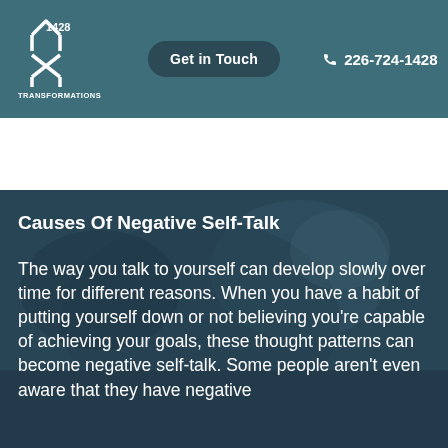[Figure (logo): 1428 Transformations logo with stylized M/bowtie shape in white on teal header]
Get in Touch  226-724-1428
Causes Of Negative Self-Talk
The way you talk to yourself can develop slowly over time for different reasons. When you have a habit of putting yourself down or not believing you're capable of achieving your goals, these thought patterns can become negative self-talk. Some people aren't even aware that they have negative